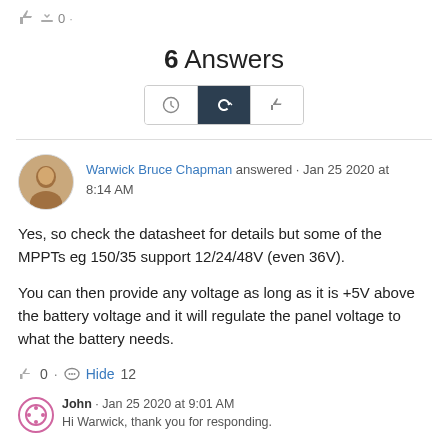[Figure (other): Vote thumbs up/down icons with count 0]
6 Answers
[Figure (other): Sort buttons: clock icon, refresh/active icon, thumbs up icon]
Warwick Bruce Chapman answered · Jan 25 2020 at 8:14 AM
Yes, so check the datasheet for details but some of the MPPTs eg 150/35 support 12/24/48V (even 36V).
You can then provide any voltage as long as it is +5V above the battery voltage and it will regulate the panel voltage to what the battery needs.
0 · Hide 12
John · Jan 25 2020 at 9:01 AM
Hi Warwick, thank you for responding.